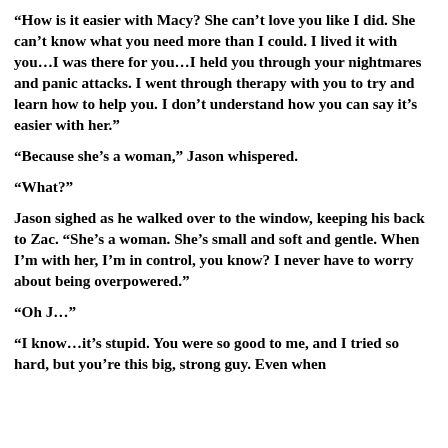“How is it easier with Macy? She can’t love you like I did. She can’t know what you need more than I could. I lived it with you…I was there for you…I held you through your nightmares and panic attacks. I went through therapy with you to try and learn how to help you. I don’t understand how you can say it’s easier with her.”
“Because she’s a woman,” Jason whispered.
“What?”
Jason sighed as he walked over to the window, keeping his back to Zac. “She’s a woman. She’s small and soft and gentle. When I’m with her, I’m in control, you know? I never have to worry about being overpowered.”
“Oh J…”
“I know…it’s stupid. You were so good to me, and I tried so hard, but you’re this big, strong guy. Even when